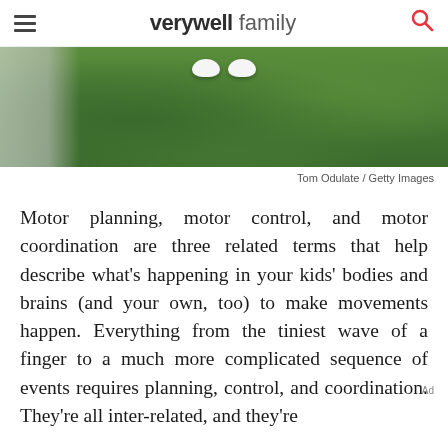verywell family
[Figure (photo): Close-up photo of a person standing on green grass, white sneakers visible from the ankles down, with a light-colored path on the left edge.]
Tom Odulate / Getty Images
Motor planning, motor control, and motor coordination are three related terms that help describe what's happening in your kids' bodies and brains (and your own, too) to make movements happen. Everything from the tiniest wave of a finger to a much more complicated sequence of events requires planning, control, and coordination. They're all inter-related, and they're